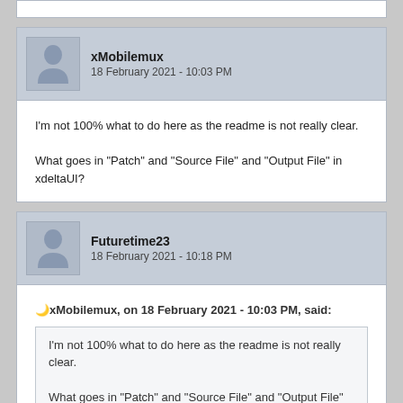xMobilemux
18 February 2021 - 10:03 PM
I'm not 100% what to do here as the readme is not really clear.

What goes in "Patch" and "Source File" and "Output File" in xdeltaUI?
Futuretime23
18 February 2021 - 10:18 PM
xMobilemux, on 18 February 2021 - 10:03 PM, said:
I'm not 100% what to do here as the readme is not really clear.

What goes in "Patch" and "Source File" and "Output File" in xdeltaUI?
Patch is where you select the respective patch file (skelmeshespatch if you are gonna patch meshes.dat, staticmeshespatch if you are